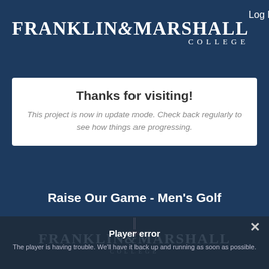Franklin & Marshall College — Log In
Thanks for visiting!
This project is now in update mode. Check back regularly to see how things are progressing.
Raise Our Game - Men's Golf
Player error
The player is having trouble. We'll have it back up and running as soon as possible.